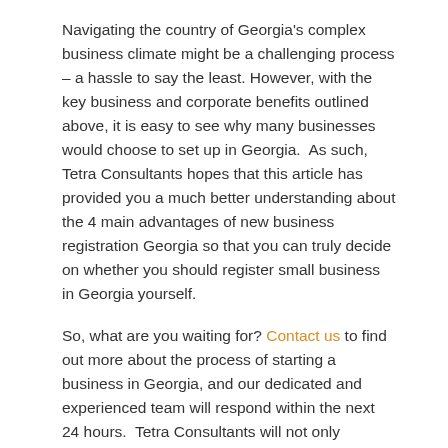Navigating the country of Georgia's complex business climate might be a challenging process – a hassle to say the least. However, with the key business and corporate benefits outlined above, it is easy to see why many businesses would choose to set up in Georgia.  As such, Tetra Consultants hopes that this article has provided you a much better understanding about the 4 main advantages of new business registration Georgia so that you can truly decide on whether you should register small business in Georgia yourself.
So, what are you waiting for? Contact us to find out more about the process of starting a business in Georgia, and our dedicated and experienced team will respond within the next 24 hours.  Tetra Consultants will not only empower you by helping to navigate the different regulations of Georgia, but also aid in facilitating the registration of your company there while providing invaluable, nuanced insights into any potential challenges.